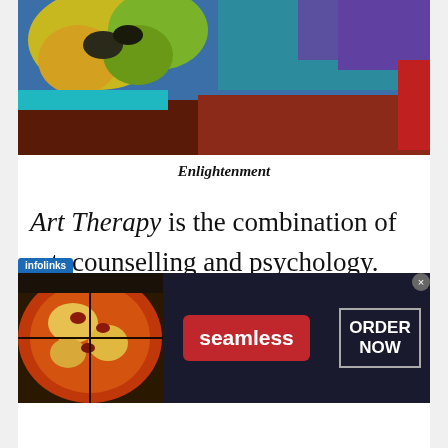[Figure (illustration): Colorful abstract painting with yellows, blues, greens, and reds — art therapy themed artwork]
Enlightenment
Art Therapy is the combination of art, counselling and psychology. Using art as a creative tool one is able to express what they feel easily, which speeds up the healing process
[Figure (screenshot): Seamless food ordering advertisement banner with pizza image, 'seamless' red button, and 'ORDER NOW' button; infolinks label visible]